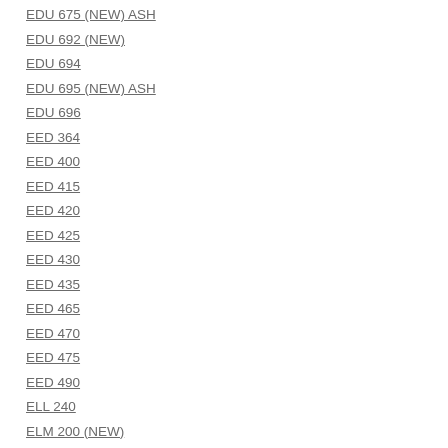EDU 675 (NEW) ASH
EDU 692 (NEW)
EDU 694
EDU 695 (NEW) ASH
EDU 696
EED 364
EED 400
EED 415
EED 420
EED 425
EED 430
EED 435
EED 465
EED 470
EED 475
EED 490
ELL 240
ELM 200 (NEW)
ELM 500